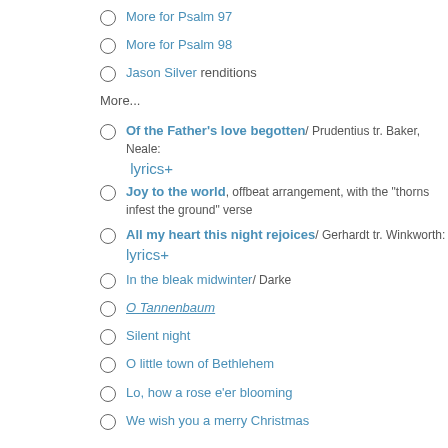More for Psalm 97
More for Psalm 98
Jason Silver renditions
More...
Of the Father's love begotten/ Prudentius tr. Baker, Neale: lyrics+
Joy to the world, offbeat arrangement, with the "thorns infest the ground" verse
All my heart this night rejoices/ Gerhardt tr. Winkworth: lyrics+
In the bleak midwinter/ Darke
O Tannenbaum
Silent night
O little town of Bethlehem
Lo, how a rose e'er blooming
We wish you a merry Christmas